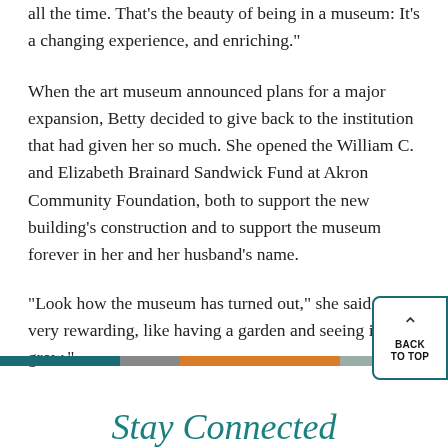all the time. That's the beauty of being in a museum: It's a changing experience, and enriching."
When the art museum announced plans for a major expansion, Betty decided to give back to the institution that had given her so much. She opened the William C. and Elizabeth Brainard Sandwick Fund at Akron Community Foundation, both to support the new building's construction and to support the museum forever in her and her husband's name.
"Look how the museum has turned out," she said. "It's very rewarding, like having a garden and seeing it grow."
Stay Connected